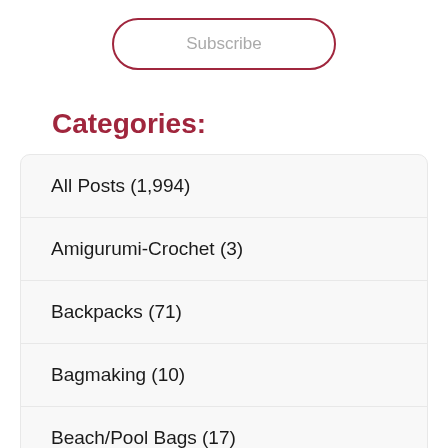Subscribe
Categories:
All Posts (1,994)
Amigurumi-Crochet (3)
Backpacks (71)
Bagmaking (10)
Beach/Pool Bags (17)
Camera Bags (14)
Cases (95)